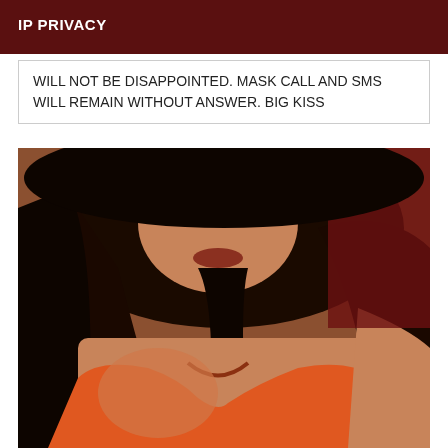IP PRIVACY
WILL NOT BE DISAPPOINTED. MASK CALL AND SMS WILL REMAIN WITHOUT ANSWER. BIG KISS
[Figure (photo): A woman with long dark hair wearing an orange top, taking a selfie close-up photo]